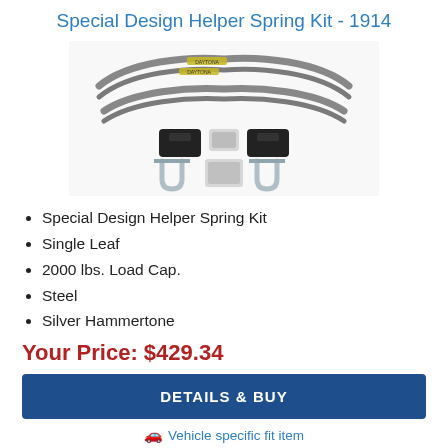Special Design Helper Spring Kit - 1914
[Figure (photo): Product photo showing a helper spring kit with two curved leaf springs (silver/gray with branding labels), two black U-bolt plates, hardware bag with bolts, two silver U-bolts, and additional hardware bags arranged on a white background.]
Special Design Helper Spring Kit
Single Leaf
2000 lbs. Load Cap.
Steel
Silver Hammertone
Your Price: $429.34
DETAILS & BUY
Vehicle specific fit item